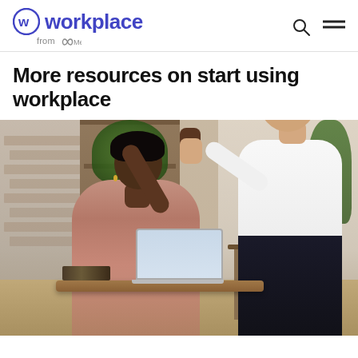workplace from Meta
More resources on start using workplace
[Figure (photo): Two colleagues giving each other a high five in a modern office with brick wall, wooden shelving unit, and plants in the background. A seated woman in a mauve/pink shirt smiles while high-fiving a standing man in a white t-shirt. A laptop and books are on the desk.]